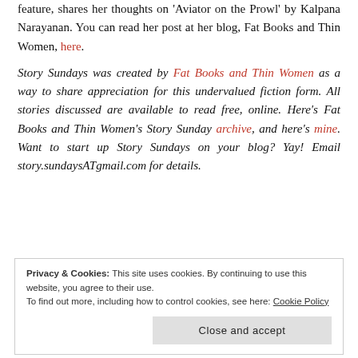feature, shares her thoughts on 'Aviator on the Prowl' by Kalpana Narayanan. You can read her post at her blog, Fat Books and Thin Women, here.
Story Sundays was created by Fat Books and Thin Women as a way to share appreciation for this undervalued fiction form. All stories discussed are available to read free, online. Here's Fat Books and Thin Women's Story Sunday archive, and here's mine. Want to start up Story Sundays on your blog? Yay! Email story.sundaysATgmail.com for details.
Privacy & Cookies: This site uses cookies. By continuing to use this website, you agree to their use. To find out more, including how to control cookies, see here: Cookie Policy
Close and accept